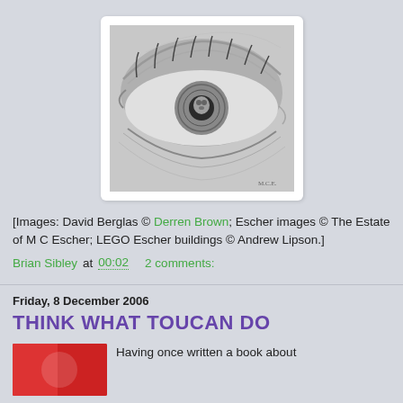[Figure (illustration): Close-up black and white lithograph of an eye with a skull reflected in the pupil, by M.C. Escher, set in a white-bordered frame.]
[Images: David Berglas © Derren Brown; Escher images © The Estate of M C Escher; LEGO Escher buildings © Andrew Lipson.]
Brian Sibley at 00:02   2 comments:
Friday, 8 December 2006
THINK WHAT TOUCAN DO
[Figure (photo): Red and white image partially visible at bottom left, likely a book or poster cover.]
Having once written a book about